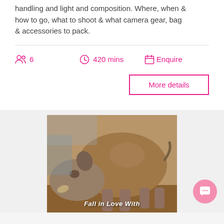handling and light and composition. Where, when & how to go, what to shoot & what camera gear, bag & accessories to pack.
6  420 mins  Enquire
More details
[Figure (photo): Close-up photo of a white rhinoceros with text 'Fall in Love With' overlaid at the bottom]